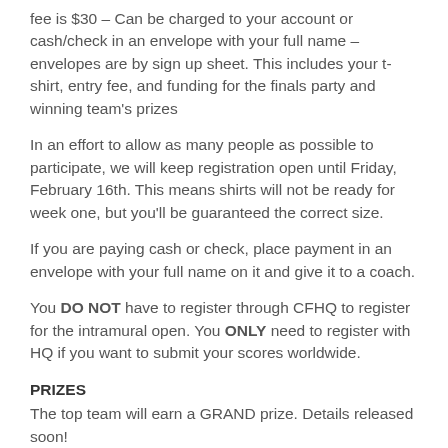fee is $30 – Can be charged to your account or cash/check in an envelope with your full name – envelopes are by sign up sheet. This includes your t-shirt, entry fee, and funding for the finals party and winning team's prizes
In an effort to allow as many people as possible to participate, we will keep registration open until Friday, February 16th. This means shirts will not be ready for week one, but you'll be guaranteed the correct size.
If you are paying cash or check, place payment in an envelope with your full name on it and give it to a coach.
You DO NOT have to register through CFHQ to register for the intramural open. You ONLY need to register with HQ if you want to submit your scores worldwide.
PRIZES
The top team will earn a GRAND prize. Details released soon!
Our focus is on FUN. We want participation because it will make you fitter, and it will get you high fives and you'll be